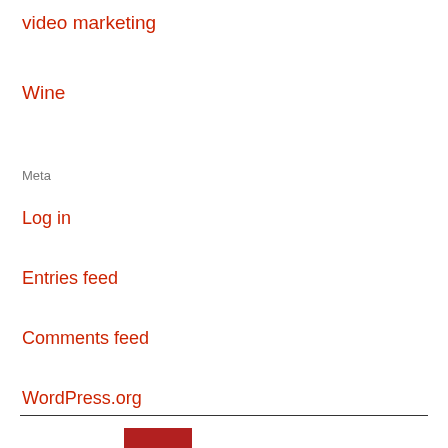video marketing
Wine
Meta
Log in
Entries feed
Comments feed
WordPress.org
[Figure (logo): InRetrospec blog logo with red square and cursive script text]